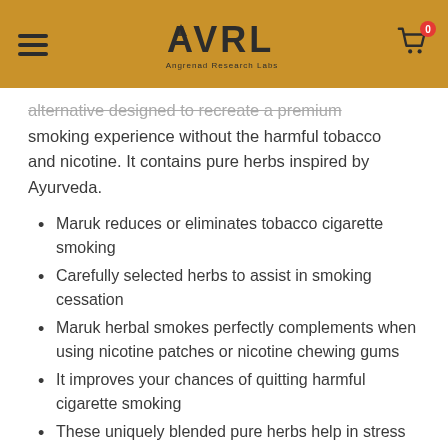AVRL - Angrenad Research Labs
alternative designed to recreate a premium smoking experience without the harmful tobacco and nicotine. It contains pure herbs inspired by Ayurveda.
Maruk reduces or eliminates tobacco cigarette smoking
Carefully selected herbs to assist in smoking cessation
Maruk herbal smokes perfectly complements when using nicotine patches or nicotine chewing gums
It improves your chances of quitting harmful cigarette smoking
These uniquely blended pure herbs help in stress relief and cough